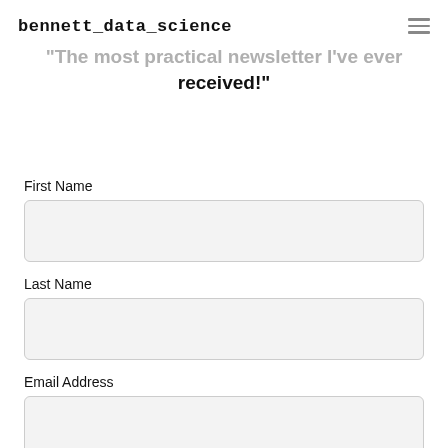bennett_data_science
"The most practical newsletter I've ever received!"
First Name
Last Name
Email Address
SUBSCRIBE NOW